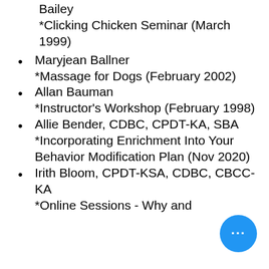Bailey *Clicking Chicken Seminar (March 1999)
Maryjean Ballner *Massage for Dogs (February 2002)
Allan Bauman *Instructor's Workshop (February 1998)
Allie Bender, CDBC, CPDT-KA, SBA *Incorporating Enrichment Into Your Behavior Modification Plan (Nov 2020)
Irith Bloom, CPDT-KSA, CDBC, CBCC-KA *Online Sessions - Why and